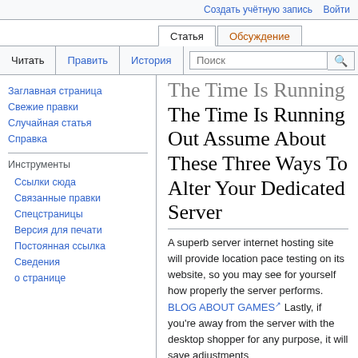Создать учётную запись   Войти
Статья   Обсуждение
Читать   Править   История   Поиск
The Time Is Running Out Assume About These Three Ways To Alter Your Dedicated Server
A superb server internet hosting site will provide location pace testing on its website, so you may see for yourself how properly the server performs. BLOG ABOUT GAMES Lastly, if you're away from the server with the desktop shopper for any purpose, it will save adjustments
Заглавная страница
Свежие правки
Случайная статья
Справка
Инструменты
Ссылки сюда
Связанные правки
Спецстраницы
Версия для печати
Постоянная ссылка
Сведения о странице